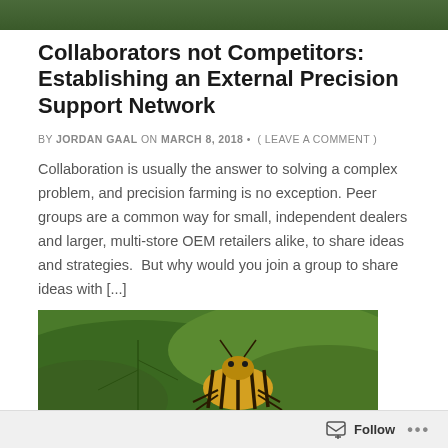[Figure (photo): Top strip showing a partial outdoor/nature scene]
Collaborators not Competitors: Establishing an External Precision Support Network
BY JORDAN GAAL ON MARCH 8, 2018 • ( LEAVE A COMMENT )
Collaboration is usually the answer to solving a complex problem, and precision farming is no exception. Peer groups are a common way for small, independent dealers and larger, multi-store OEM retailers alike, to share ideas and strategies.  But why would you join a group to share ideas with [...]
[Figure (photo): Close-up photo of a striped beetle (Colorado potato beetle) on a green leaf]
Follow •••